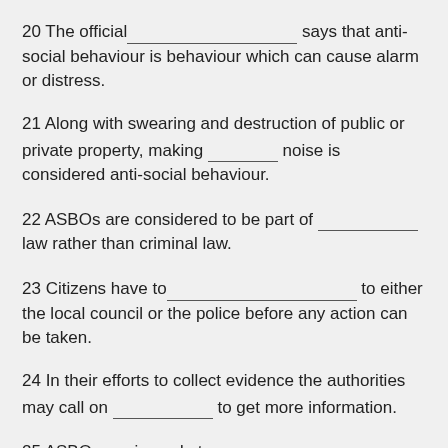20 The official ___ says that anti-social behaviour is behaviour which can cause alarm or distress.
21 Along with swearing and destruction of public or private property, making ___ noise is considered anti-social behaviour.
22 ASBOs are considered to be part of ___ law rather than criminal law.
23 Citizens have to ___ to either the local council or the police before any action can be taken.
24 In their efforts to collect evidence the authorities may call on ___ to get more information.
25 ASBOs are issued at a___ .
26 ___ is the most straightforward form of anti-social behaviour to determine.